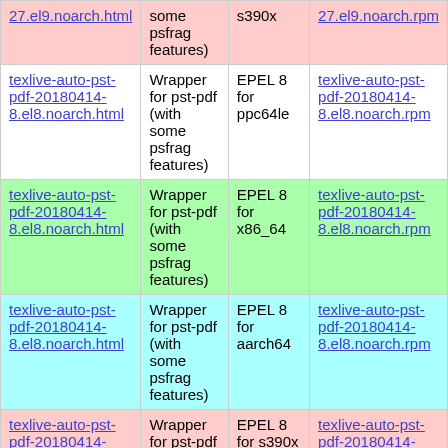| 27.el9.noarch.html | some psfrag features) | s390x | 27.el9.noarch.rpm |
| texlive-auto-pst-pdf-20180414-8.el8.noarch.html | Wrapper for pst-pdf (with some psfrag features) | EPEL 8 for ppc64le | texlive-auto-pst-pdf-20180414-8.el8.noarch.rpm |
| texlive-auto-pst-pdf-20180414-8.el8.noarch.html | Wrapper for pst-pdf (with some psfrag features) | EPEL 8 for x86_64 | texlive-auto-pst-pdf-20180414-8.el8.noarch.rpm |
| texlive-auto-pst-pdf-20180414-8.el8.noarch.html | Wrapper for pst-pdf (with some psfrag features) | EPEL 8 for aarch64 | texlive-auto-pst-pdf-20180414-8.el8.noarch.rpm |
| texlive-auto-pst-pdf-20180414- | Wrapper for pst-pdf (with some | EPEL 8 for s390x | texlive-auto-pst-pdf-20180414- |